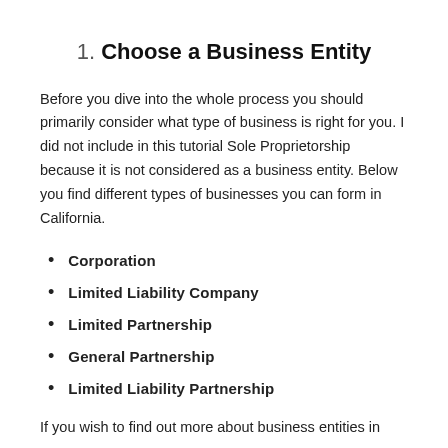1. Choose a Business Entity
Before you dive into the whole process you should primarily consider what type of business is right for you. I did not include in this tutorial Sole Proprietorship because it is not considered as a business entity. Below you find different types of businesses you can form in California.
Corporation
Limited Liability Company
Limited Partnership
General Partnership
Limited Liability Partnership
If you wish to find out more about business entities in